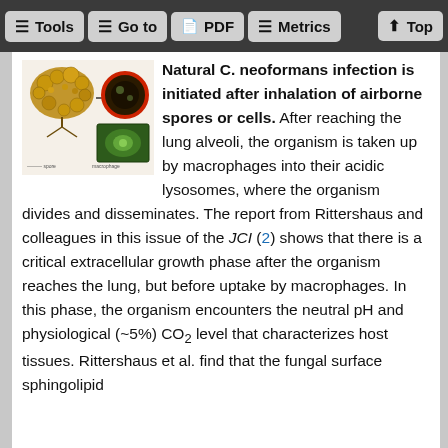Tools  Go to  PDF  Metrics  Top
[Figure (illustration): Scientific illustration showing C. neoformans infection pathway with fungal spores and macrophage diagram]
Natural C. neoformans infection is initiated after inhalation of airborne spores or cells. After reaching the lung alveoli, the organism is taken up by macrophages into their acidic lysosomes, where the organism divides and disseminates. The report from Rittershaus and colleagues in this issue of the JCI (2) shows that there is a critical extracellular growth phase after the organism reaches the lung, but before uptake by macrophages. In this phase, the organism encounters the neutral pH and physiological (~5%) CO2 level that characterizes host tissues. Rittershaus et al. find that the fungal surface sphingolipid